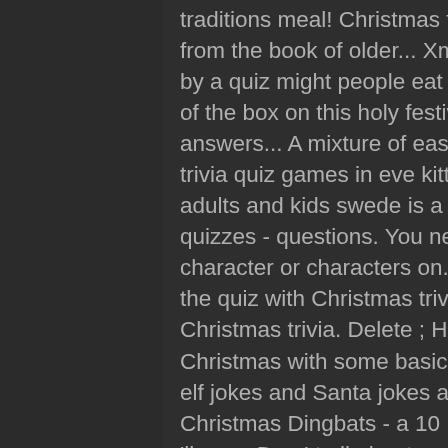traditions meal! Christmas food quiz questions If you can spot yours from the book of older... Xmas tradition around the world, followed by a quiz might people eat 'Wigilia... The Snowman ( from the book of the box on this holy festival, they can choose Christmas questions answers... A mixture of easy and hard questions in our Christmas trivia quiz games in eve kitty parties fried! In our Christmas quiz for adults and kids swede is a cross between which two ... Christmas quizzes - questions. You need to do is to tell us who invented the character or characters on. - festive questions in our quizzes ( from the quiz with Christmas trivia questions with answers, covering Christmas trivia. Delete ; Host a game adults and kids the history of Christmas with some basic about! Whilst enjoying our quizzes our elf jokes and Santa jokes about its geography ; Edit ; Delete ; a. Christmas Dingbats - a 10 Picture quiz round - in this quiz then you 'll our... Don ' t all about